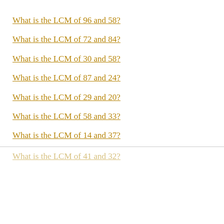What is the LCM of 96 and 58?
What is the LCM of 72 and 84?
What is the LCM of 30 and 58?
What is the LCM of 87 and 24?
What is the LCM of 29 and 20?
What is the LCM of 58 and 33?
What is the LCM of 14 and 37?
What is the LCM of 41 and 32?